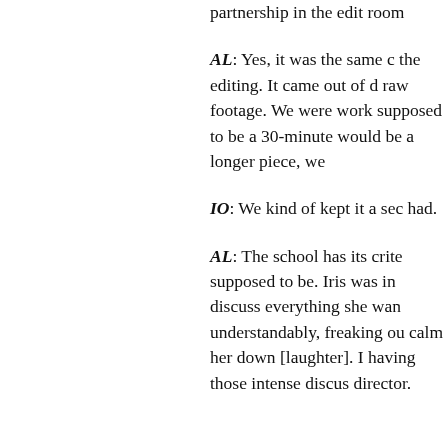partnership in the edit room
AL: Yes, it was the same c the editing. It came out of d raw footage. We were work supposed to be a 30-minute would be a longer piece, we
IO: We kind of kept it a sec had.
AL: The school has its crite supposed to be. Iris was in discuss everything she wan understandably, freaking ou calm her down [laughter]. I having those intense discus director.